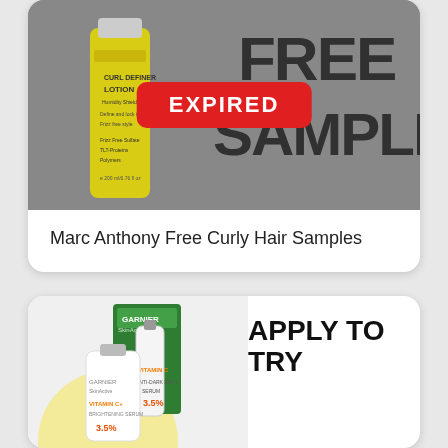[Figure (photo): Marc Anthony Curl Definer Lotion yellow bottle on grey background with FREE SAMPLE text and EXPIRED red banner overlay]
Marc Anthony Free Curly Hair Samples
[Figure (photo): Garnier SkinActive Vitamin C Anti-Dark Spot Serum products with APPLY TO TRY text on white background]